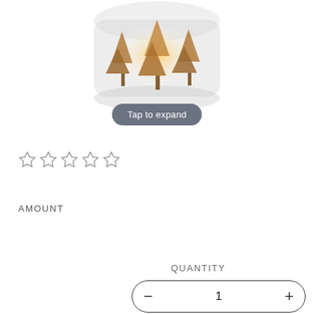[Figure (photo): Frosted glass candle holder with tree silhouette cutouts and warm glowing light inside, partially visible at top of page]
Tap to expand
☆☆☆☆☆ (5 empty stars rating)
AMOUNT
Default Title
QUANTITY
− 1 +